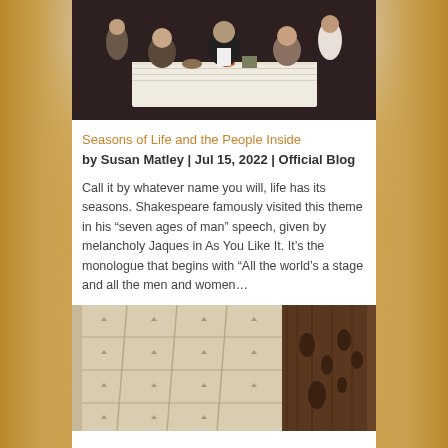[Figure (photo): Vintage group photo of several people seated and standing around a table with a white lace tablecloth, dark background]
Seasons of Life and the People Inside
by Susan Matley | Jul 15, 2022 | Official Blog
Call it by whatever name you will, life has its seasons. Shakespeare famously visited this theme in his “seven ages of man” speech, given by melancholy Jaques in As You Like It. It’s the monologue that begins with “All the world’s a stage and all the men and women…
[Figure (photo): Close-up photo of a vintage tufted white/cream upholstered chair back next to a dark wooden chair or furniture piece]